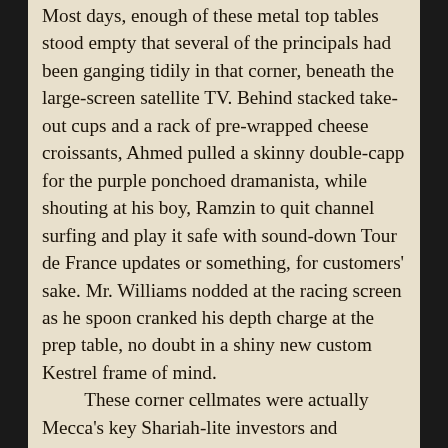Most days, enough of these metal top tables stood empty that several of the principals had been ganging tidily in that corner, beneath the large-screen satellite TV. Behind stacked take-out cups and a rack of pre-wrapped cheese croissants, Ahmed pulled a skinny double-capp for the purple ponchoed dramanista, while shouting at his boy, Ramzin to quit channel surfing and play it safe with sound-down Tour de France updates or something, for customers' sake. Mr. Williams nodded at the racing screen as he spoon cranked his depth charge at the prep table, no doubt in a shiny new custom Kestrel frame of mind.
These corner cellmates were actually Mecca's key Shariah-lite investors and leadership council. Early middle-aged